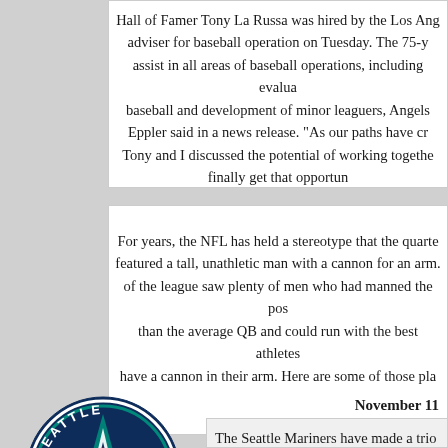Hall of Famer Tony La Russa was hired by the Los Angeles Angels as senior adviser for baseball operation on Tuesday. The 75-year-old La Russa will assist in all areas of baseball operations, including evaluation of amateur baseball and development of minor leaguers, Angels general manager Billy Eppler said in a news release. "As our paths have crossed over the years, Tony and I discussed the potential of working together and I'm thrilled we can finally get that opportun...
November 1...
For years, the NFL has held a stereotype that the quarterback position featured a tall, unathletic man with a cannon for an arm. However, the history of the league saw plenty of men who had manned the position who were more athletic than the average QB and could run with the best athletes in the league and still have a cannon in their arm. Here are some of those pla...
November 11...
[Figure (logo): Seattle Mariners baseball team logo - circular navy blue and teal compass/star design with 'SEATTLE' on top arc and 'MARINERS' on bottom arc, with TM mark]
The Seattle Mariners have made a trio of pro... league coaching staff for next season. Manag... Thursday that Pete Woodworth would be the... Vitale will be the field coordinator and Jarret M...